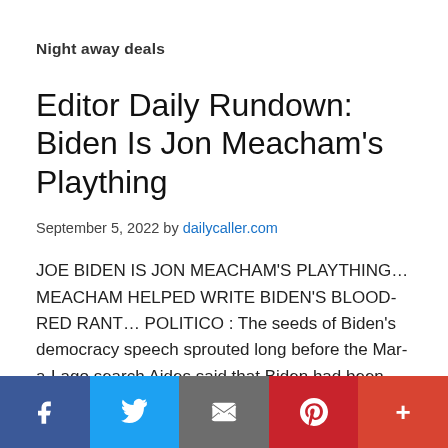Night away deals
Editor Daily Rundown: Biden Is Jon Meacham’s Plaything
September 5, 2022 by dailycaller.com
JOE BIDEN IS JON MEACHAM’S PLAYTHING… MEACHAM HELPED WRITE BIDEN’S BLOOD-RED RANT… POLITICO : The seeds of Biden’s democracy speech sprouted long before the Mar-a-Lago search Aides said that Biden had been
[Figure (infographic): Social media sharing bar with five buttons: Facebook (dark blue), Twitter (blue), Email (gray), Pinterest (red), More (orange-red)]